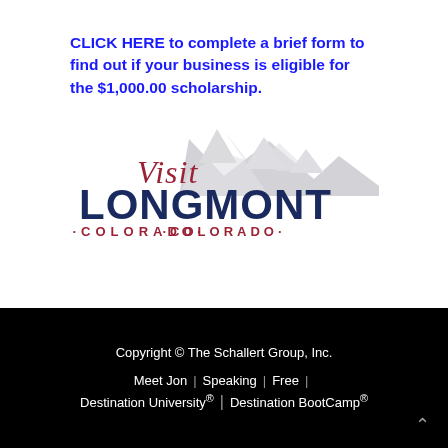CLICK HERE to complete a brief form to find out if your business is eligible for the $1,000.00 scholarship.
[Figure (logo): Visit Longmont Colorado logo with mountain silhouette. 'Visit' in red cursive script, 'LONGMONT' in large dark navy bold text, '·COLORADO·' in red capital letters below.]
Copyright © The Schallert Group, Inc.  Meet Jon | Speaking | Free | Destination University® | Destination BootCamp®